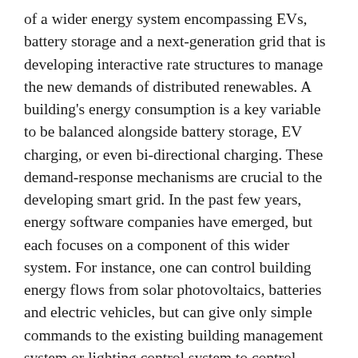of a wider energy system encompassing EVs, battery storage and a next-generation grid that is developing interactive rate structures to manage the new demands of distributed renewables. A building's energy consumption is a key variable to be balanced alongside battery storage, EV charging, or even bi-directional charging. These demand-response mechanisms are crucial to the developing smart grid. In the past few years, energy software companies have emerged, but each focuses on a component of this wider system. For instance, one can control building energy flows from solar photovoltaics, batteries and electric vehicles, but can give only simple commands to the existing building management system or lighting control system to control building load. To develop integrated demand-side management for net-zero districts, a fully integrated strategy encompassing all of these elements is needed.
3. Evolve beyond simple rules-based algorithms